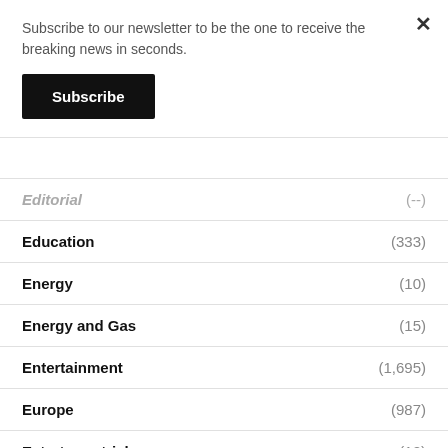Subscribe to our newsletter to be the one to receive the breaking news in seconds.
Subscribe
Editorial ... (__)
Education (333)
Energy (10)
Energy and Gas (15)
Entertainment (1,695)
Europe (987)
Extraterrestrial (12)
Family (39)
Fantasy (6)